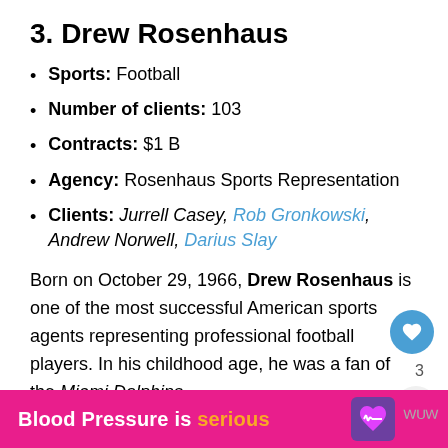3. Drew Rosenhaus
Sports: Football
Number of clients: 103
Contracts: $1 B
Agency: Rosenhaus Sports Representation
Clients: Jurrell Casey, Rob Gronkowski, Andrew Norwell, Darius Slay
Born on October 29, 1966, Drew Rosenhaus is one of the most successful American sports agents representing professional football players. In his childhood age, he was a fan of the Miami Dolphins,
[Figure (other): Ad banner: Blood Pressure is serious with heart logo icon]